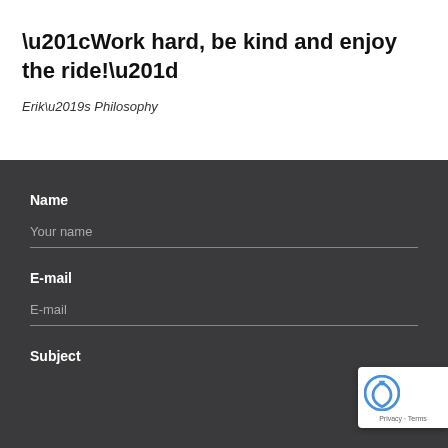“Work hard, be kind and enjoy the ride!”
Erik’s Philosophy
Name
Your name
E-mail
E-mail
Subject